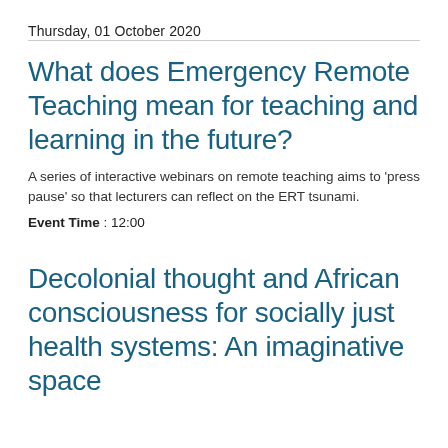Thursday, 01 October 2020
What does Emergency Remote Teaching mean for teaching and learning in the future?
A series of interactive webinars on remote teaching aims to 'press pause' so that lecturers can reflect on the ERT tsunami.
Event Time : 12:00
Decolonial thought and African consciousness for socially just health systems: An imaginative space